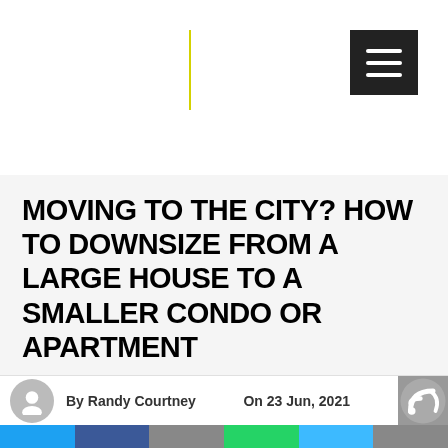MOVING TO THE CITY? HOW TO DOWNSIZE FROM A LARGE HOUSE TO A SMALLER CONDO OR APARTMENT
By Randy Courtney   On 23 Jun, 2021